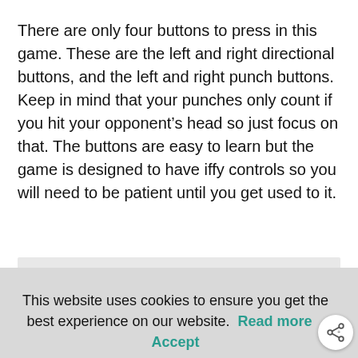There are only four buttons to press in this game. These are the left and right directional buttons, and the left and right punch buttons. Keep in mind that your punches only count if you hit your opponent's head so just focus on that. The buttons are easy to learn but the game is designed to have iffy controls so you will need to be patient until you get used to it.
This website uses cookies to ensure you get the best experience on our website. Read more Accept